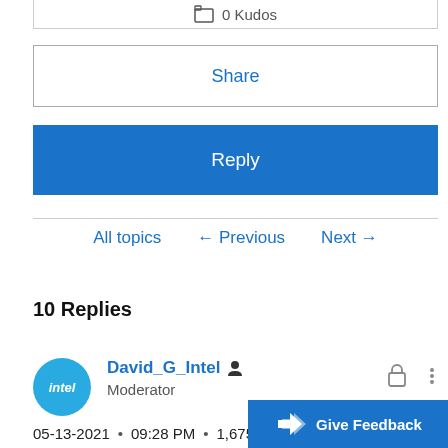0 Kudos
Share
Reply
All topics  ← Previous  Next →
10 Replies
David_G_Intel  Moderator
05-13-2021 • 09:28 PM • 1,675
Give Feedback